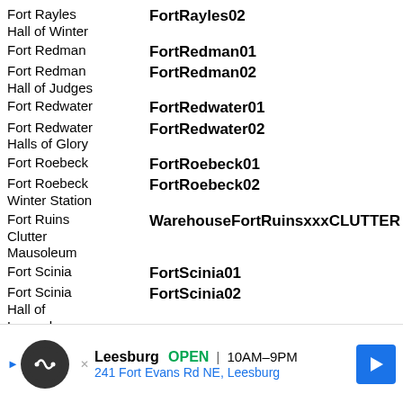Fort Rayles Hall of Winter — FortRayles02
Fort Redman — FortRedman01
Fort Redman Hall of Judges — FortRedman02
Fort Redwater — FortRedwater01
Fort Redwater Halls of Glory — FortRedwater02
Fort Roebeck — FortRoebeck01
Fort Roebeck Winter Station — FortRoebeck02
Fort Ruins Clutter Mausoleum — WarehouseFortRuinsxxxCLUTTER
Fort Scinia — FortScinia01
Fort Scinia Hall of Legends — FortScinia02
Fort Sejanus — FortSejanus01
Fort Sejanus Catacombs — FortSejanus02
Fort Strand — FortStrand01
Fort Strand Great Dome — FortStrand02
Fort Sut... (truncated)
Fort Tele... (truncated)
Fort Tele... (truncated)